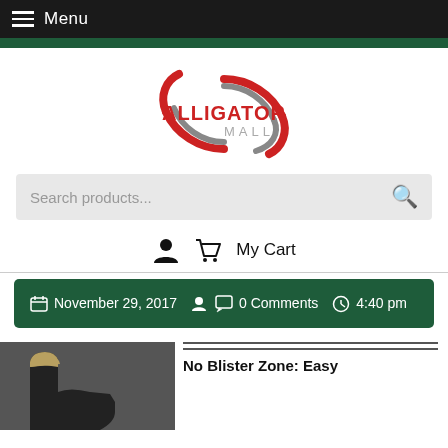≡ Menu
[Figure (logo): Alligator Mall logo with red and gray circular swoosh icon and red ALLIGATOR text with gray MALL text below]
Search products...
My Cart
November 29, 2017   0 Comments   4:40 pm
[Figure (photo): Black cowboy boot partially visible]
No Blister Zone: Easy